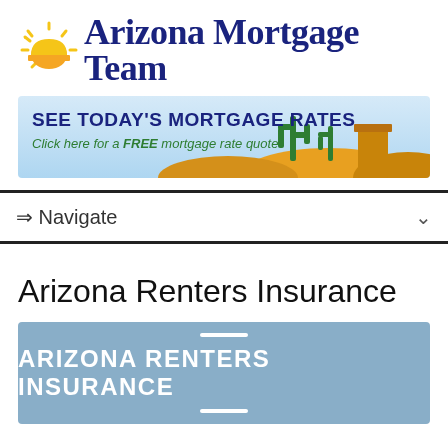[Figure (logo): Arizona Mortgage Team logo with sun icon and dark blue serif text]
[Figure (infographic): Banner ad: SEE TODAY'S MORTGAGE RATES - Click here for a FREE mortgage rate quote, with desert/cactus illustration]
⇒ Navigate
Arizona Renters Insurance
[Figure (infographic): Blue box with white text: ARIZONA RENTERS INSURANCE with decorative white lines above and below]